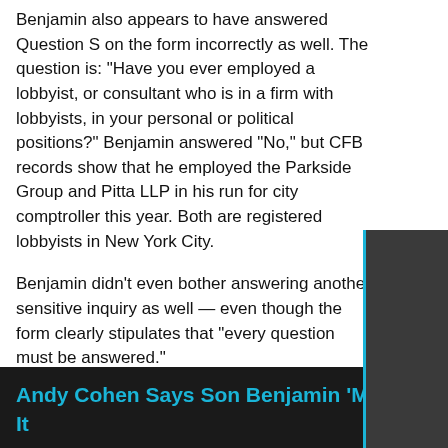Benjamin also appears to have answered Question S on the form incorrectly as well. The question is: “Have you ever employed a lobbyist, or consultant who is in a firm with lobbyists, in your personal or political positions?” Benjamin answered “No,” but CFB records show that he employed the Parkside Group and Pitta LLP in his run for city comptroller this year. Both are registered lobbyists in New York City.
Benjamin didn’t even bother answering another sensitive inquiry as well — even though the form clearly stipulates that “every question must be answered.”
“Can you say with reasonable certainty that no past or current donor, lobbyist or consultant for such donor, or agent of such donor, will appear before you, directly or indirectly, in the position for which you seek to be appointed?” the question on the background check form reads.
Andy Cohen Says Son Benjamin ‘Makes It